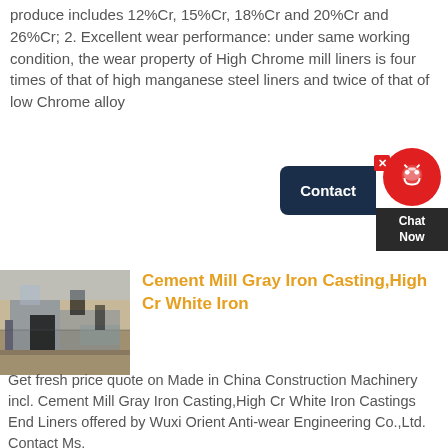produce includes 12%Cr, 15%Cr, 18%Cr and 20%Cr and 26%Cr; 2. Excellent wear performance: under same working condition, the wear property of High Chrome mill liners is four times of that of high manganese steel liners and twice of that of low Chrome alloy
[Figure (other): Contact button (dark navy blue pill shape with text 'Contact') and chat widget (red circle with headset icon, dark box with 'Chat Now' text, red X close button)]
[Figure (photo): Industrial facility or construction machinery site, showing large equipment and structures under a blue sky]
Cement Mill Gray Iron Casting,High Cr White Iron
Get fresh price quote on Made in China Construction Machinery incl. Cement Mill Gray Iron Casting,High Cr White Iron Castings End Liners offered by Wuxi Orient Anti-wear Engineering Co.,Ltd. Contact Ms.